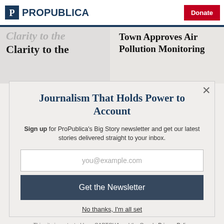ProPublica | Donate
Clarity to the
Town Approves Air Pollution Monitoring
Journalism That Holds Power to Account
Sign up for ProPublica's Big Story newsletter and get our latest stories delivered straight to your inbox.
you@example.com
Get the Newsletter
No thanks, I'm all set
This site is protected by reCAPTCHA and the Google Privacy Policy and Terms of Service apply.